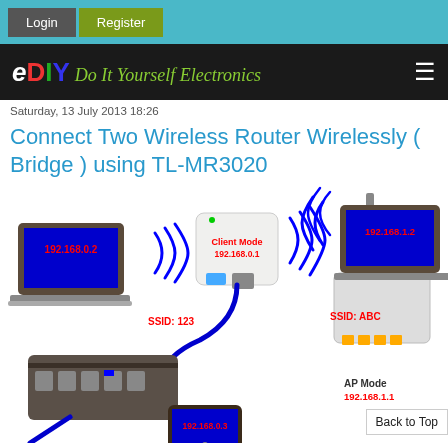Login | Register
eDIY Do It Yourself Electronics
Saturday, 13 July 2013 18:26
Connect Two Wireless Router Wirelessly ( Bridge ) using TL-MR3020
[Figure (infographic): Network diagram showing two wireless routers connected wirelessly in bridge mode. Left side: laptop with IP 192.168.0.2, SSID: 123. Center: TL-MR3020 router in Client Mode with IP 192.168.0.1, connected via ethernet cable to a network switch. Bottom-left: device with IP 192.168.0.3 connected to switch. Right side: AP Mode router with IP 192.168.1.1, SSID: ABC, with laptop showing IP 192.168.1.2. Wireless signal arcs shown between devices.]
Back to Top